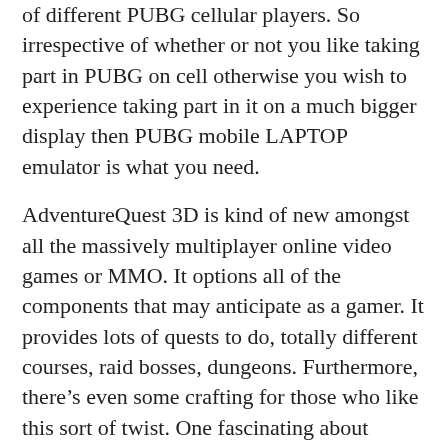of different PUBG cellular players. So irrespective of whether or not you like taking part in PUBG on cell otherwise you wish to experience taking part in it on a much bigger display then PUBG mobile LAPTOP emulator is what you need.
AdventureQuest 3D is kind of new amongst all the massively multiplayer online video games or MMO. It options all of the components that may anticipate as a gamer. It provides lots of quests to do, totally different courses, raid bosses, dungeons. Furthermore, there’s even some crafting for those who like this sort of twist. One fascinating about AdventureQuest 3D is it has complete cross-platform assist. You can play it on your Android smartphone or on your computer if you need. Because the online recreation has been launched, some hiccups are available.
Valve Corp’s Steam has additionally lengthy bought